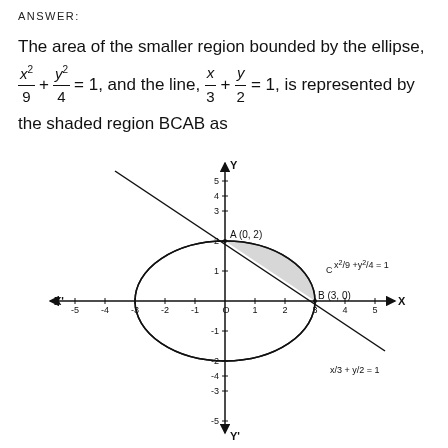ANSWER:
The area of the smaller region bounded by the ellipse, x²/9 + y²/4 = 1, and the line, x/3 + y/2 = 1, is represented by the shaded region BCAB as
[Figure (math-figure): Coordinate plane showing an ellipse x²/9 + y²/4 = 1 and a line x/3 + y/2 = 1. The shaded region BCAB is between the line and ellipse in the first quadrant. Points A(0,2) and B(3,0) are labeled. Axes range from -5 to 5 on both x and y.]